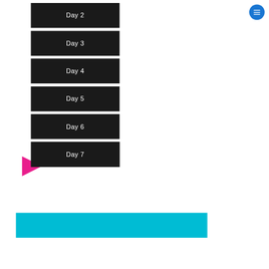Day 2
Day 3
Day 4
Day 5
Day 6
Day 7
[Figure (other): Cyan/light-blue rectangular banner bar at bottom of page]